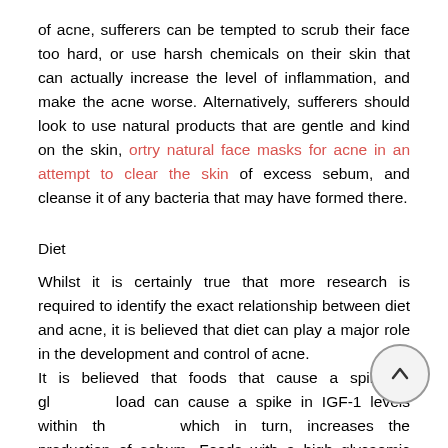of acne, sufferers can be tempted to scrub their face too hard, or use harsh chemicals on their skin that can actually increase the level of inflammation, and make the acne worse. Alternatively, sufferers should look to use natural products that are gentle and kind on the skin, ortry natural face masks for acne in an attempt to clear the skin of excess sebum, and cleanse it of any bacteria that may have formed there.
Diet
Whilst it is certainly true that more research is required to identify the exact relationship between diet and acne, it is believed that diet can play a major role in the development and control of acne. It is believed that foods that cause a spike in glycaemic load can cause a spike in IGF-1 levels within the body, which in turn, increases the production of sebum. Foods with a high glycaemic load include: